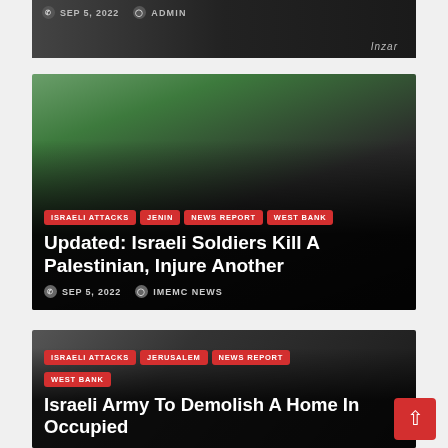[Figure (photo): Partial top of a news card showing a vehicle with 'Inzar' branding, dark background]
SEP 5, 2022   ADMIN
[Figure (photo): Photo of a young Palestinian man smiling, standing near a car, with overlaid news article text]
ISRAELI ATTACKS   JENIN   NEWS REPORT   WEST BANK
Updated: Israeli Soldiers Kill A Palestinian, Injure Another
SEP 5, 2022   IMEMC NEWS
[Figure (photo): Photo of people in dark clothing, likely military or police context, Jerusalem/West Bank news story]
ISRAELI ATTACKS   JERUSALEM   NEWS REPORT   WEST BANK
Israeli Army To Demolish A Home In Occupied